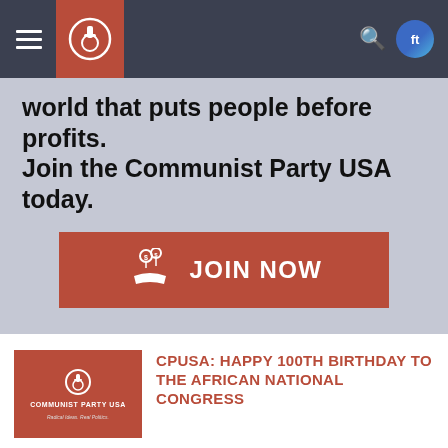Communist Party USA navigation bar
world that puts people before profits. Join the Communist Party USA today.
[Figure (other): JOIN NOW button with hand and coins icon on red background]
[Figure (logo): Communist Party USA logo — red background with gear-fist icon and text 'COMMUNIST PARTY USA / Radical Ideas. Real Politics.']
CPUSA: HAPPY 100TH BIRTHDAY TO THE AFRICAN NATIONAL CONGRESS
BY: COMMUNIST PARTY USA  |  JANUARY 11, 2012
Read More
[Figure (photo): Photo of protest sign reading: THE RICH ARE WRECKING THE PLANET]
COMMUNIST PARTY HERALDS OCCUPY WALL STREET MOVEMENT